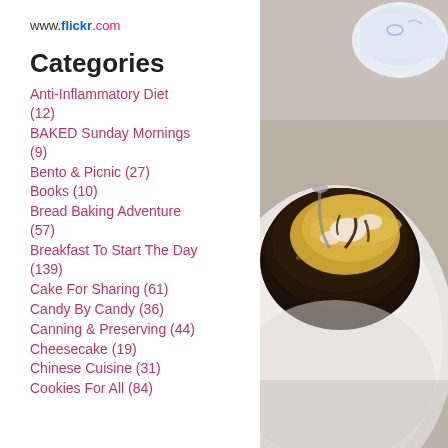www.flickr.com
Categories
Anti-Inflammatory Diet (12)
BAKED Sunday Mornings (9)
Bento & Picnic (27)
Books (10)
Bread Baking Adventure (57)
Breakfast To Start The Day (139)
Cake For Sharing (61)
Candy By Candy (36)
Canning & Preserving (44)
Cheesecake (19)
Chinese Cuisine (31)
Cookies For All (84)
[Figure (photo): Close-up photo of a bowl of Japanese dessert with crushed peanuts/kinako powder and dark syrup on a white plate, with a blue and white ceramic cup in the background]